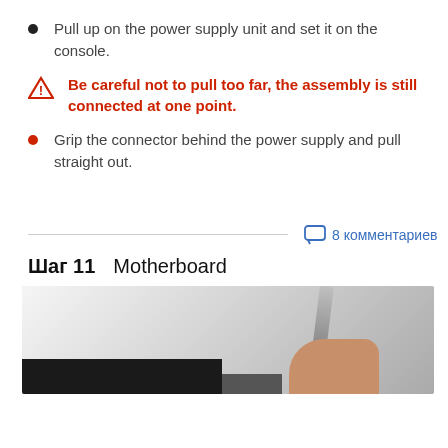Pull up on the power supply unit and set it on the console.
Be careful not to pull too far, the assembly is still connected at one point.
Grip the connector behind the power supply and pull straight out.
8 комментариев
Шаг 11   Motherboard
[Figure (photo): Photo showing a screwdriver being used on a motherboard component, with a hand visible at the lower right.]